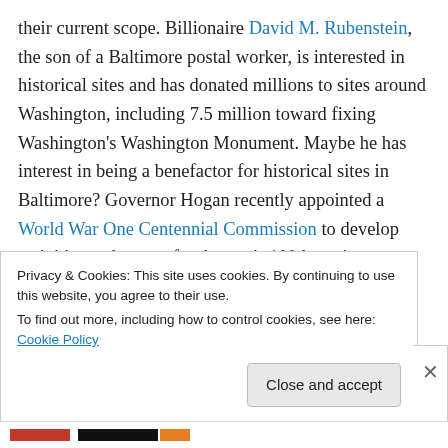their current scope. Billionaire David M. Rubenstein, the son of a Baltimore postal worker, is interested in historical sites and has donated millions to sites around Washington, including 7.5 million toward fixing Washington's Washington Monument. Maybe he has interest in being a benefactor for historical sites in Baltimore? Governor Hogan recently appointed a World War One Centennial Commission to develop activities and events for the war's 100th anniversary. Maybe that group could lead the project. One other option might be having the Maryland Zoo helping with day to day upkeep
Privacy & Cookies: This site uses cookies. By continuing to use this website, you agree to their use.
To find out more, including how to control cookies, see here: Cookie Policy
Close and accept